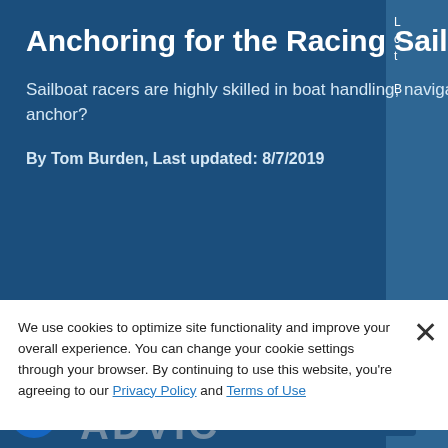Anchoring for the Racing Sailor
Sailboat racers are highly skilled in boat handling, navigation, tuning and rigging. But do they know how to safely anchor?
By Tom Burden, Last updated: 8/7/2019
ADVICE
We use cookies to optimize site functionality and improve your overall experience. You can change your cookie settings through your browser. By continuing to use this website, you're agreeing to our Privacy Policy and Terms of Use
Add to Cart